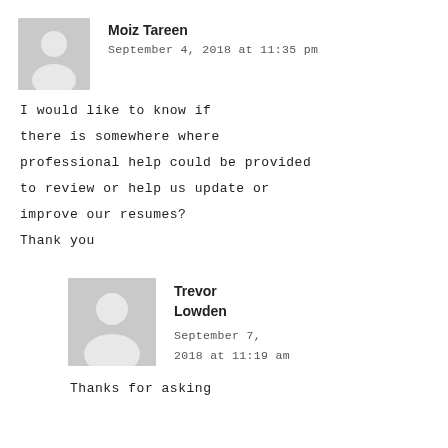Moiz Tareen
September 4, 2018 at 11:35 pm
I would like to know if there is somewhere where professional help could be provided to review or help us update or improve our resumes?
Thank you
Trevor Lowden
September 7, 2018 at 11:19 am
Thanks for asking